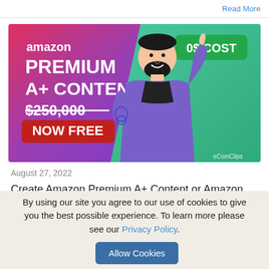Read More
[Figure (illustration): Amazon Premium A+ Content advertisement banner. Left side has a pink-to-purple gradient with text: amazon, PREMIUM, A+ CONTENT, $250,000 (strikethrough), NOW FREE. Right side has a teal/green gradient with a cartoon man with beard pointing up at a green badge reading '0$ COST'. Bottom right says eComClips.]
August 27, 2022
Create Amazon Premium A+ Content or Amazon
By using our site you agree to our use of cookies to give you the best possible experience. To learn more please see our Privacy Policy.